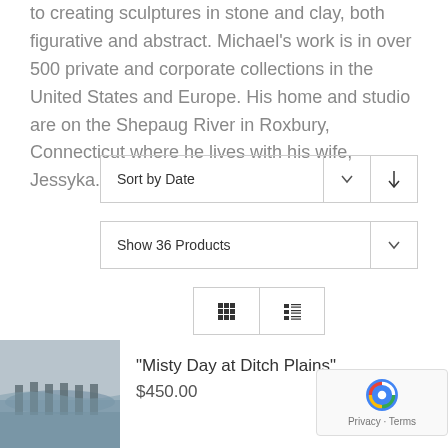to creating sculptures in stone and clay, both figurative and abstract. Michael's work is in over 500 private and corporate collections in the United States and Europe. His home and studio are on the Shepaug River in Roxbury, Connecticut where he lives with his wife, Jessyka.
[Figure (screenshot): Sort by Date dropdown control with chevron and sort-direction arrow button]
[Figure (screenshot): Show 36 Products dropdown control with chevron]
[Figure (screenshot): Grid/list view toggle buttons]
[Figure (photo): Thumbnail photo of Misty Day at Ditch Plains artwork showing a beach scene]
“Misty Day at Ditch Plains”
$450.00
[Figure (screenshot): Google reCAPTCHA badge showing Privacy and Terms]